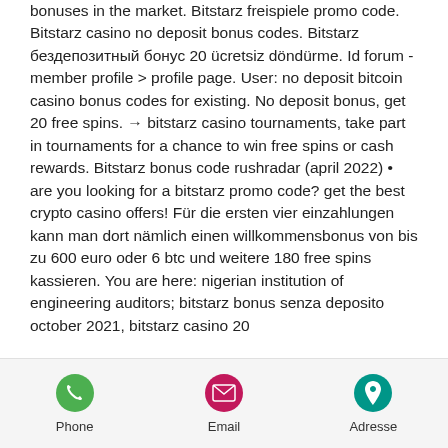bonuses in the market. Bitstarz freispiele promo code. Bitstarz casino no deposit bonus codes. Bitstarz бездепозитный бонус 20 ücretsiz döndürme. Id forum - member profile &gt; profile page. User: no deposit bitcoin casino bonus codes for existing. No deposit bonus, get 20 free spins. → bitstarz casino tournaments, take part in tournaments for a chance to win free spins or cash rewards. Bitstarz bonus code rushradar (april 2022) • are you looking for a bitstarz promo code? get the best crypto casino offers! Für die ersten vier einzahlungen kann man dort nämlich einen willkommensbonus von bis zu 600 euro oder 6 btc und weitere 180 free spins kassieren. You are here: nigerian institution of engineering auditors; bitstarz bonus senza deposito october 2021, bitstarz casino 20
[Figure (infographic): Footer bar with three icons: Phone (green circle with phone icon), Email (pink/magenta circle with envelope icon), Adresse (teal circle with location pin icon), each with label below.]